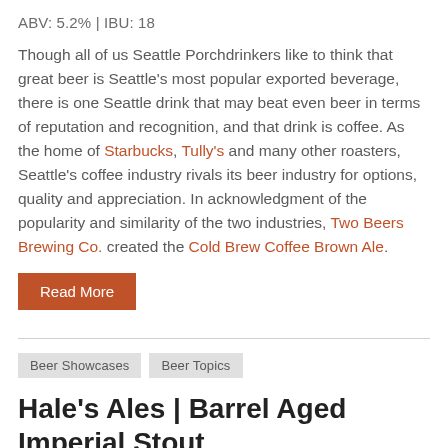ABV: 5.2% | IBU: 18
Though all of us Seattle Porchdrinkers like to think that great beer is Seattle's most popular exported beverage, there is one Seattle drink that may beat even beer in terms of reputation and recognition, and that drink is coffee. As the home of Starbucks, Tully's and many other roasters, Seattle's coffee industry rivals its beer industry for options, quality and appreciation. In acknowledgment of the popularity and similarity of the two industries, Two Beers Brewing Co. created the Cold Brew Coffee Brown Ale.
Read More
Beer Showcases
Beer Topics
Hale's Ales | Barrel Aged Imperial Stout